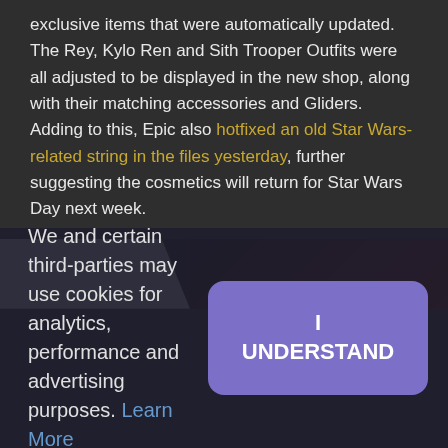exclusive items that were automatically updated. The Rey, Kylo Ren and Sith Trooper Outfits were all adjusted to be displayed in the new shop, along with their matching accessories and Gliders. Adding to this, Epic also hotfixed an old Star Wars-related string in the files yesterday, further suggesting the cosmetics will return for Star Wars Day next week.
[Figure (screenshot): Partial screenshot showing a hooded figure against a dark red background, with a white area on the left side]
We and certain third-parties may use cookies for analytics, performance and advertising purposes. Learn More
I UNDERSTAND